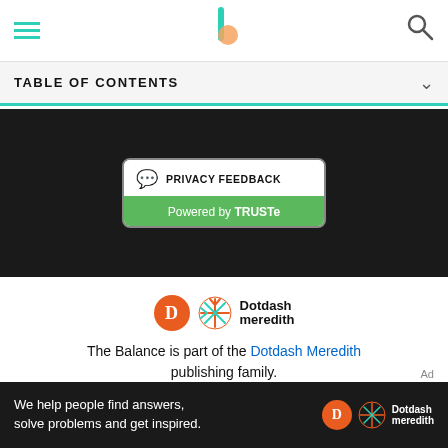TABLE OF CONTENTS
[Figure (screenshot): TRUSTe Privacy Feedback badge on dark background]
[Figure (logo): Dotdash Meredith logo with orange D circle and snowflake icon]
The Balance is part of the Dotdash Meredith publishing family.
We've updated our Privacy Policy, which will go in to effect on September 1, 2022. Review our Privacy Policy
[Figure (screenshot): Ad banner: We help people find answers, solve problems and get inspired. Dotdash meredith logo.]